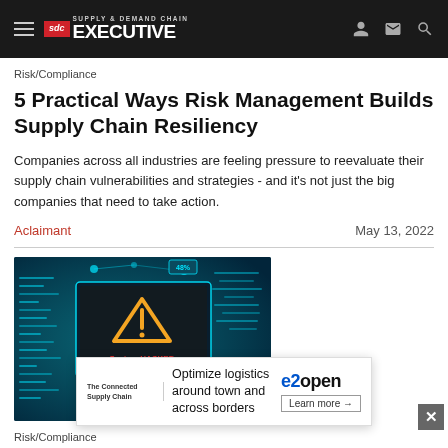Supply & Demand Chain Executive
Risk/Compliance
5 Practical Ways Risk Management Builds Supply Chain Resiliency
Companies across all industries are feeling pressure to reevaluate their supply chain vulnerabilities and strategies - and it's not just the big companies that need to take action.
Aclaimant | May 13, 2022
[Figure (photo): Cybersecurity warning image showing a computer screen with a yellow warning triangle/hazard symbol and text 'System HACKED' on a blue teal digital background]
Risk/Compliance